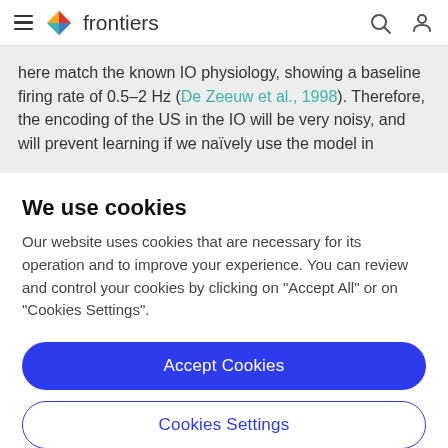frontiers
here match the known IO physiology, showing a baseline firing rate of 0.5–2 Hz (De Zeeuw et al., 1998). Therefore, the encoding of the US in the IO will be very noisy, and will prevent learning if we naïvely use the model in
We use cookies
Our website uses cookies that are necessary for its operation and to improve your experience. You can review and control your cookies by clicking on "Accept All" or on "Cookies Settings".
Accept Cookies
Cookies Settings